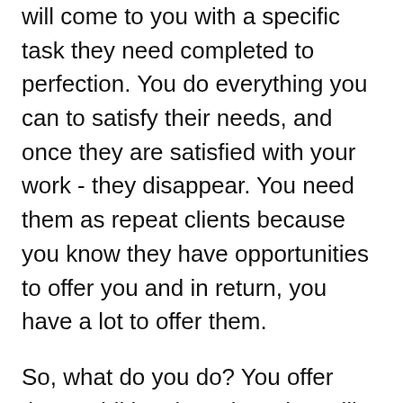will come to you with a specific task they need completed to perfection. You do everything you can to satisfy their needs, and once they are satisfied with your work - they disappear. You need them as repeat clients because you know they have opportunities to offer you and in return, you have a lot to offer them.
So, what do you do? You offer them additional services that will entice them to keep coming back. You upsell your design services in the best way you can.
What is an upsell?